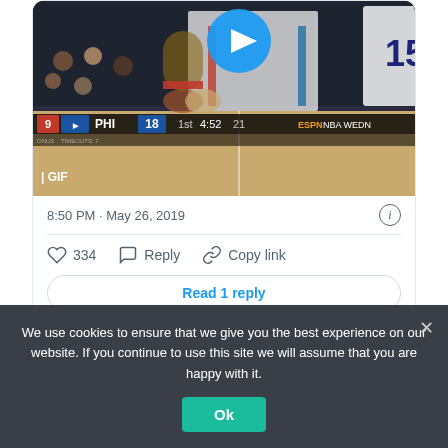[Figure (screenshot): GIF of NBA basketball game on ESPN showing players, with scoreboard overlay: 9 PHI 18, 1st 4:52, 21. Play button visible at top center. GIF label at bottom left.]
8:50 PM · May 26, 2019
334  Reply  Copy link
Read 1 reply
We use cookies to ensure that we give you the best experience on our website. If you continue to use this site we will assume that you are happy with it.
Ok